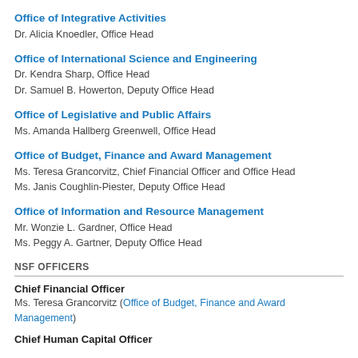Office of Integrative Activities
Dr. Alicia Knoedler, Office Head
Office of International Science and Engineering
Dr. Kendra Sharp, Office Head
Dr. Samuel B. Howerton, Deputy Office Head
Office of Legislative and Public Affairs
Ms. Amanda Hallberg Greenwell, Office Head
Office of Budget, Finance and Award Management
Ms. Teresa Grancorvitz, Chief Financial Officer and Office Head
Ms. Janis Coughlin-Piester, Deputy Office Head
Office of Information and Resource Management
Mr. Wonzie L. Gardner, Office Head
Ms. Peggy A. Gartner, Deputy Office Head
NSF OFFICERS
Chief Financial Officer
Ms. Teresa Grancorvitz (Office of Budget, Finance and Award Management)
Chief Human Capital Officer